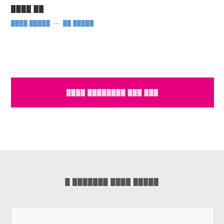████ ██
████ █████  —  ██ █████
████ ████████ ███ ███
█ ███████ ████ █████